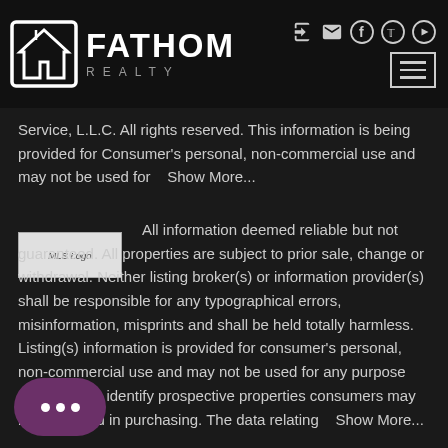FATHOM REALTY
Service, L.L.C. All rights reserved. This information is being provided for Consumer's personal, non-commercial use and may not be used for   Show More...
[Figure (logo): MLS Logo placeholder image]
All information deemed reliable but not guaranteed. All properties are subject to prior sale, change or withdrawal. Neither listing broker(s) or information provider(s) shall be responsible for any typographical errors, misinformation, misprints and shall be held totally harmless. Listing(s) information is provided for consumer's personal, non-commercial use and may not be used for any purpose other than to identify prospective properties consumers may be interested in purchasing. The data relating   Show More...